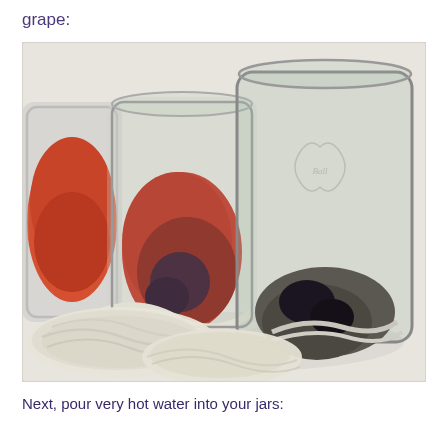grape:
[Figure (photo): Photo of mason jars containing yarn and natural dye materials (red/purple and dark grape materials) placed in glass canning jars, with skeins of undyed cream-colored yarn arranged around them on a white surface.]
Next, pour very hot water into your jars: